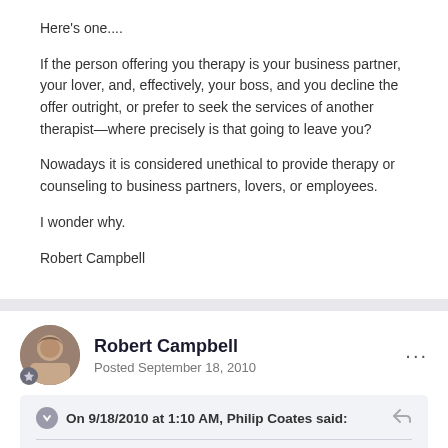Here's one....
If the person offering you therapy is your business partner, your lover, and, effectively, your boss, and you decline the offer outright, or prefer to seek the services of another therapist—where precisely is that going to leave you?
Nowadays it is considered unethical to provide therapy or counseling to business partners, lovers, or employees.
I wonder why.
Robert Campbell
Robert Campbell
Posted September 18, 2010
On 9/18/2010 at 1:10 AM, Philip Coates said:
I made it quite clear to you that -the excerpts-